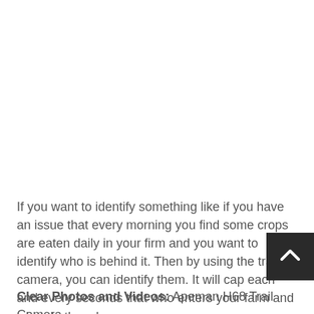If you want to identify something like if you have an issue that every morning you find some crops are eaten daily in your firm and you want to identify who is behind it. Then by using the trail camera, you can identify them. It will cap each and every seconds that who enters your farm and what do they do.
Clear Photos and Videos: Apeman H68 Trail Camera